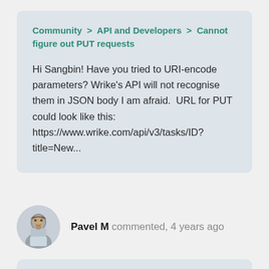Community > API and Developers > Cannot figure out PUT requests
Hi Sangbin! Have you tried to URI-encode parameters? Wrike's API will not recognise them in JSON body I am afraid.  URL for PUT could look like this: https://www.wrike.com/api/v3/tasks/ID?title=New...
Pavel M commented, 4 years ago